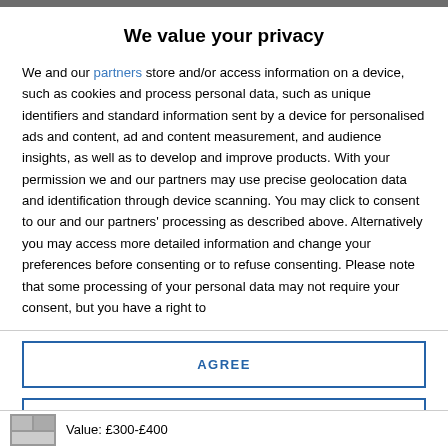We value your privacy
We and our partners store and/or access information on a device, such as cookies and process personal data, such as unique identifiers and standard information sent by a device for personalised ads and content, ad and content measurement, and audience insights, as well as to develop and improve products. With your permission we and our partners may use precise geolocation data and identification through device scanning. You may click to consent to our and our partners' processing as described above. Alternatively you may access more detailed information and change your preferences before consenting or to refuse consenting. Please note that some processing of your personal data may not require your consent, but you have a right to
AGREE
MORE OPTIONS
Value: £300-£400